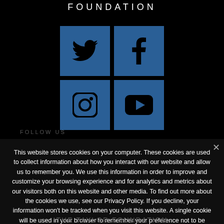FOUNDATION
[Figure (infographic): Four social media icon boxes in a 2x2 grid on blue backgrounds: Twitter, Facebook, Instagram, YouTube]
This website stores cookies on your computer. These cookies are used to collect information about how you interact with our website and allow us to remember you. We use this information in order to improve and customize your browsing experience and for analytics and metrics about our visitors both on this website and other media. To find out more about the cookies we use, see our Privacy Policy. If you decline, your information won't be tracked when you visit this website. A single cookie will be used in your browser to remember your preference not to be tracked.
Ok   Privacy policy